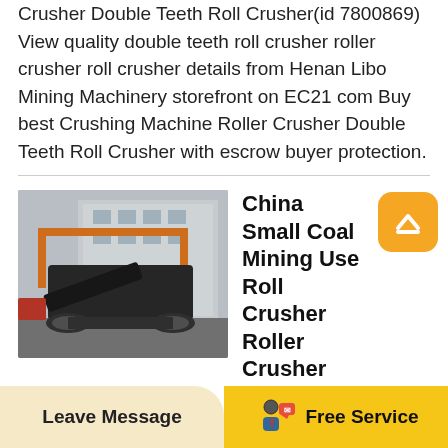Crusher Double Teeth Roll Crusher(id 7800869) View quality double teeth roll crusher roller crusher roll crusher details from Henan Libo Mining Machinery storefront on EC21 com Buy best Crushing Machine Roller Crusher Double Teeth Roll Crusher with escrow buyer protection.
[Figure (photo): Industrial mobile crusher/roller crusher machine with orange gantry frame, tracked base, outdoors near warehouse building]
China Small Coal Mining Use Roll Crusher Roller Crusher
3 Coal is probably the largest user of roll crusher currently Coal plants will use roll crushers either single roller or double roller crusher glass Usually this crusher will have teeth or raised forms on the face of the roll (Double teeth
Leave Message   Free Service